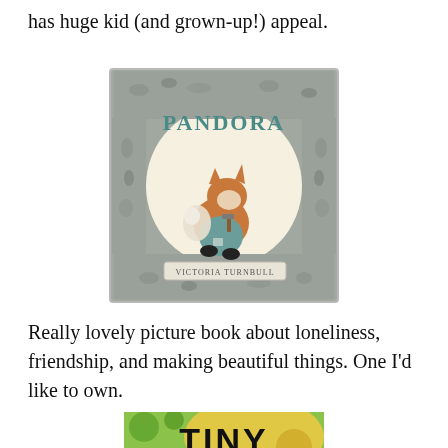has huge kid (and grown-up!) appeal.
[Figure (illustration): Book cover of 'Pandora' by Victoria Turnbull, featuring a fox sitting in a circle of collected objects with text 'PANDORA' arched at top and 'Victoria Turnbull' at bottom]
Really lovely picture book about loneliness, friendship, and making beautiful things. One I'd like to own.
[Figure (photo): Partial view of another book cover showing 'TINY' in bold letters on a colorful background]